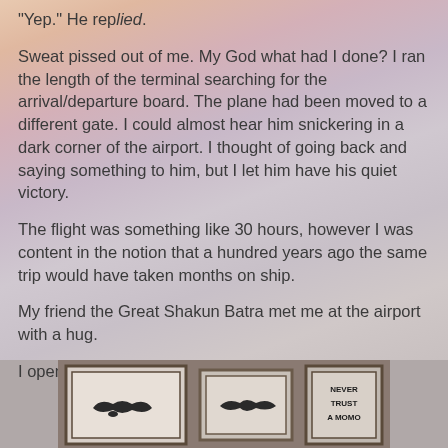"Yep." He replied.
Sweat pissed out of me. My God what had I done? I ran the length of the terminal searching for the arrival/departure board. The plane had been moved to a different gate. I could almost hear him snickering in a dark corner of the airport. I thought of going back and saying something to him, but I let him have his quiet victory.
The flight was something like 30 hours, however I was content in the notion that a hundred years ago the same trip would have taken months on ship.
My friend the Great Shakun Batra met me at the airport with a hug.
I opened with, “Dr. Batra’s son, I presume.”
[Figure (photo): Three framed pictures on a wooden surface. Two frames show mustache illustrations and one frame reads NEVER TRUST A MOMO]